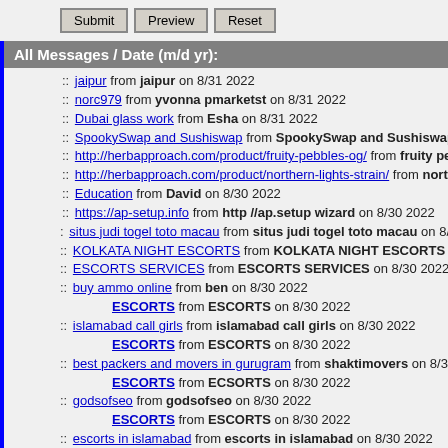Submit | Preview | Reset
All Messages / Date (m/d yr):
:: jaipur from jaipur on 8/31 2022
:: norc979 from yvonna pmarketst on 8/31 2022
:: Dubai glass work from Esha on 8/31 2022
:: SpookySwap and Sushiswap from SpookySwap and Sushiswap o
:: http://herbapproach.com/product/fruity-pebbles-og/ from fruity pebl
:: http://herbapproach.com/product/northern-lights-strain/ from northe
:: Education from David on 8/30 2022
:: https://ap-setup.info from http //ap.setup wizard on 8/30 2022
:: situs judi togel toto macau from situs judi togel toto macau on 8/3
:: KOLKATA NIGHT ESCORTS from KOLKATA NIGHT ESCORTS o
:: ESCORTS SERVICES from ESCORTS SERVICES on 8/30 2022
:: buy ammo online from ben on 8/30 2022
ESCORTS from ESCORTS on 8/30 2022
:: islamabad call girls from islamabad call girls on 8/30 2022
ESCORTS from ESCORTS on 8/30 2022
:: best packers and movers in gurugram from shaktimovers on 8/30
ESCORTS from ECSORTS on 8/30 2022
:: godsofseo from godsofseo on 8/30 2022
ESCORTS from ESCORTS on 8/30 2022
:: escorts in islamabad from escorts in islamabad on 8/30 2022
ESCORTS from ESCORTS on 8/30 2022
:: Suhagra 100 Mg Get 15% off at First Order ED from timmattson o
ESCORTS from ESCORTS on 8/30 2022
:: Dubai glass work from Esha on 8/30 2022
ESCORTS from ESCORTS on 8/30 2022